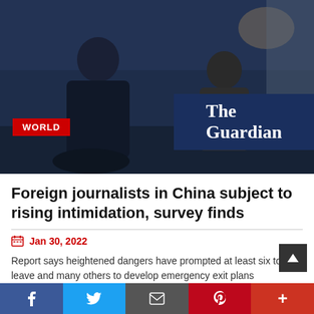[Figure (photo): Two people seated facing each other in a formal interview setting. Left person wearing a dark suit, right person wearing a grey blazer. Dark background with warm ambient lighting. The Guardian logo overlay visible in bottom right. 'WORLD' category badge in red on bottom left.]
Foreign journalists in China subject to rising intimidation, survey finds
Jan 30, 2022
Report says heightened dangers have prompted at least six to leave and many others to develop emergency exit plans
READ MORE